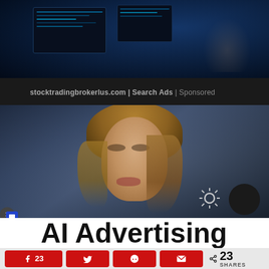[Figure (photo): Dark blue-toned photo of a person at computer screens with stock trading charts, partially visible at top of page]
stocktradingbrokerlus.com | Search Ads | Sponsored
[Figure (photo): Close-up photo of a blonde woman with an expressive facial expression, looking concerned or surprised, blurred background]
AI Advertising
23  [Facebook share button]  [Twitter share button]  [Reddit share button]  [Email share button]  < 23 SHARES